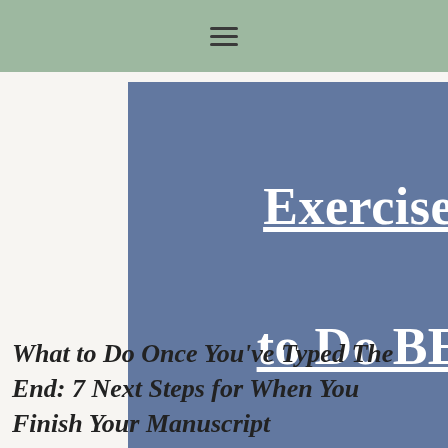≡
[Figure (illustration): Dark blue-grey banner with bold white underlined text reading: Exercises You Need to Do BEFORE You Write Your Novel!]
What to Do Once You've Typed The End: 7 Next Steps for When You Finish Your Manuscript